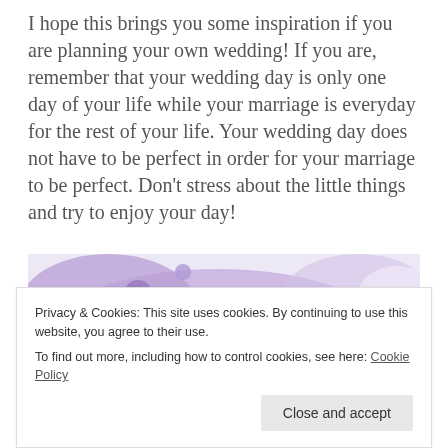I hope this brings you some inspiration if you are planning your own wedding! If you are, remember that your wedding day is only one day of your life while your marriage is everyday for the rest of your life. Your wedding day does not have to be perfect in order for your marriage to be perfect. Don't stress about the little things and try to enjoy your day!
[Figure (photo): Close-up photo of purple and lavender watercolor blobs or flowers, soft pastel tones with circular purple accents on white background.]
Privacy & Cookies: This site uses cookies. By continuing to use this website, you agree to their use.
To find out more, including how to control cookies, see here: Cookie Policy